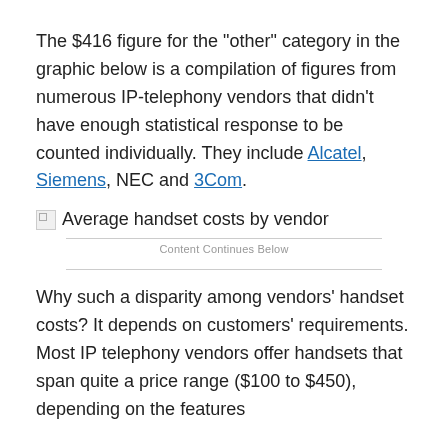The $416 figure for the "other" category in the graphic below is a compilation of figures from numerous IP-telephony vendors that didn't have enough statistical response to be counted individually. They include Alcatel, Siemens, NEC and 3Com.
[Figure (other): Broken image placeholder with alt text: Average handset costs by vendor]
Content Continues Below
Why such a disparity among vendors' handset costs? It depends on customers' requirements. Most IP telephony vendors offer handsets that span quite a price range ($100 to $450), depending on the features